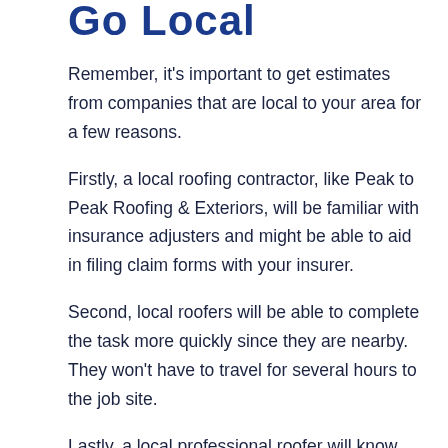Go Local
Remember, it's important to get estimates from companies that are local to your area for a few reasons.
Firstly, a local roofing contractor, like Peak to Peak Roofing & Exteriors, will be familiar with insurance adjusters and might be able to aid in filing claim forms with your insurer.
Second, local roofers will be able to complete the task more quickly since they are nearby. They won't have to travel for several hours to the job site.
Lastly, a local professional roofer will know the